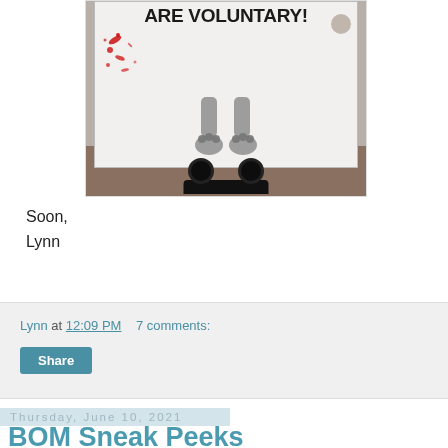[Figure (photo): Photo of a decorative tile or sign on a stand that says 'ARE VOLUNTARY!' with bear paw/legs imagery and red splatter decoration. The sign is displayed on a black decorative stand with ring feet.]
Soon,
Lynn
Lynn at 12:09 PM    7 comments:
Share
Thursday, June 10, 2021
BOM Sneak Peeks